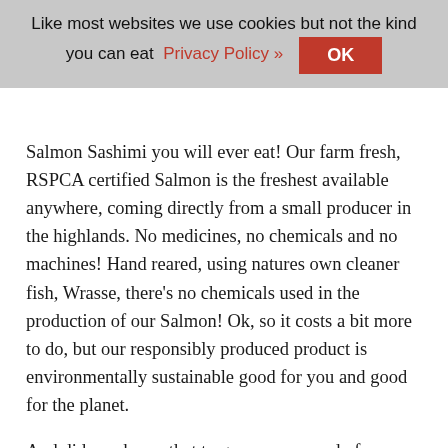Like most websites we use cookies but not the kind you can eat  Privacy Policy »  OK
Salmon Sashimi you will ever eat! Our farm fresh, RSPCA certified Salmon is the freshest available anywhere, coming directly from a small producer in the highlands. No medicines, no chemicals and no machines! Hand reared, using natures own cleaner fish, Wrasse, there's no chemicals used in the production of our Salmon! Ok, so it costs a bit more to do, but our responsibly produced product is environmentally sustainable good for you and good for the planet.
And did you know that to grow one pound of salmon, it takes four pounds of feed? And, made from Sandeels and small fish from unregulated fisheries, it is destroying the Oceans food chain. Newly born sea birds & young fish rely on this source of food to grow and even survive. Yet, in our